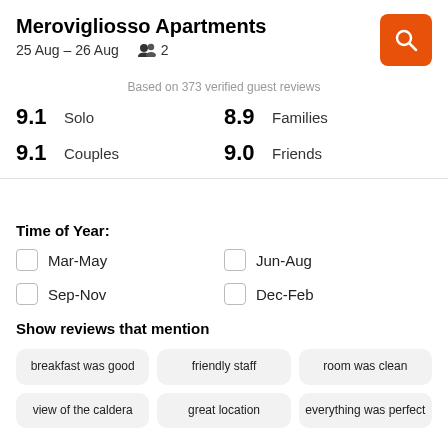Merovigliosso Apartments
25 Aug – 26 Aug   👥 2
Based on 373 verified guest reviews
9.1  Solo
8.9  Families
9.1  Couples
9.0  Friends
Time of Year:
Mar-May
Jun-Aug
Sep-Nov
Dec-Feb
Show reviews that mention
breakfast was good
friendly staff
room was clean
view of the caldera
great location
everything was perfect